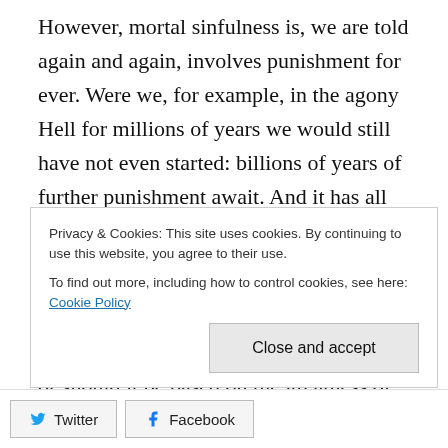However, mortal sinfulness is, we are told again and again, involves punishment for ever. Were we, for example, in the agony Hell for millions of years we would still have not even started: billions of years of further punishment await. And it has all been brought about, perhaps, because we failed to attend Mass on a Sunday.
You see, I am looking at justice. Should our punishment be based on our intention or should it be based on the greatness of God? As far as my judgment goes, I have to say that I prefer human justice rather than what we are told about divine justice.
Privacy & Cookies: This site uses cookies. By continuing to use this website, you agree to their use.
To find out more, including how to control cookies, see here: Cookie Policy
Close and accept
Twitter  Facebook